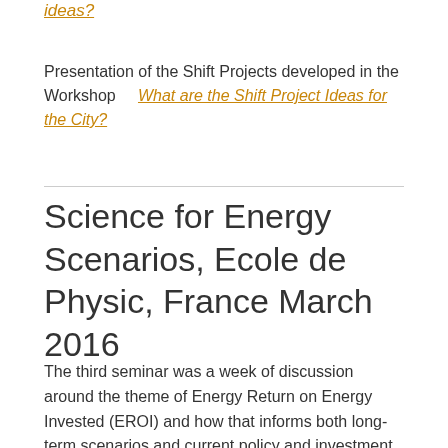ideas?
Presentation of the Shift Projects developed in the Workshop    What are the Shift Project Ideas for the City?
Science for Energy Scenarios, Ecole de Physic, France March 2016
The third seminar was a week of discussion around the theme of Energy Return on Energy Invested (EROI) and how that informs both long-term scenarios and current policy and investment. Prof.